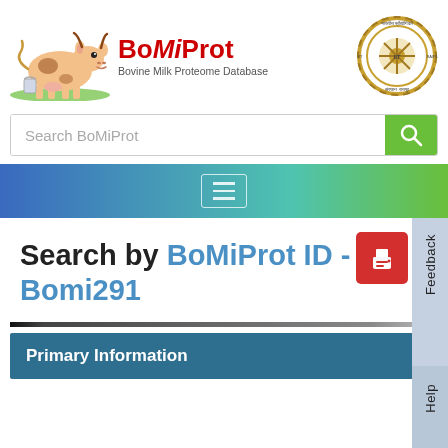[Figure (logo): BoMiProt logo with cartoon cow and text 'BoMiProt Bovine Milk Proteome Database', alongside IIT institute circular emblem logo]
Search BoMiProt
[Figure (other): Navigation bar with gradient blue-to-green background and hamburger menu icon]
Search by BoMiProt ID - Bomi291
Primary Information